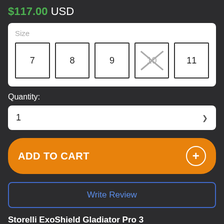$117.00 USD
Size
7 8 9 10 11
Quantity:
1
ADD TO CART
Write Review
Storelli ExoShield Gladiator Pro 3 Goalkeeper Glove Review
[Figure (screenshot): YouTube video thumbnail showing two people, channel name 'Storelli ExoShield ...' with a green circle avatar border and vertical dots menu]